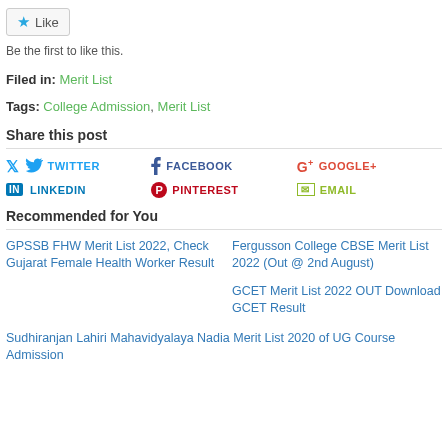[Figure (other): Like button with star icon]
Be the first to like this.
Filed in: Merit List
Tags: College Admission, Merit List
Share this post
TWITTER
FACEBOOK
GOOGLE+
LINKEDIN
PINTEREST
EMAIL
Recommended for You
GPSSB FHW Merit List 2022, Check Gujarat Female Health Worker Result
Fergusson College CBSE Merit List 2022 (Out @ 2nd August)
GCET Merit List 2022 OUT Download GCET Result
Sudhiranjan Lahiri Mahavidyalaya Nadia Merit List 2020 of UG Course Admission